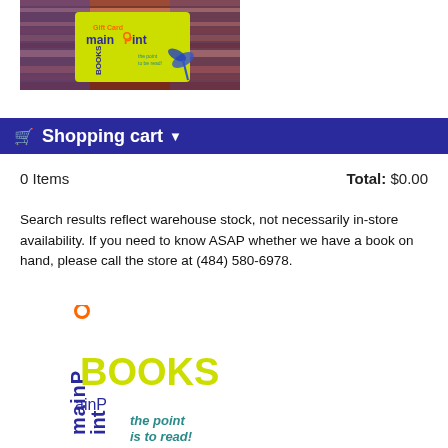[Figure (photo): Photo of a MainPoint Books gift card in yellow/green color on a decorative fabric background with blue ribbon]
Shopping cart
0 Items   Total: $0.00
Search results reflect warehouse stock, not necessarily in-store availability. If you need to know ASAP whether we have a book on hand, please call the store at (484) 580-6978.
[Figure (logo): MainPoint Books logo with rotated text 'mainPoint' vertically and 'BOOKS' in yellow-green, with tagline 'the point is to read!' in teal]